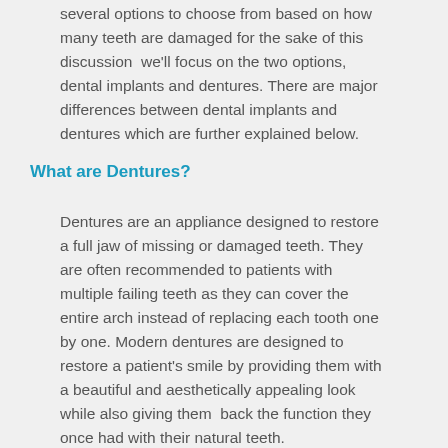several options to choose from based on how many teeth are damaged for the sake of this discussion we'll focus on the two options, dental implants and dentures. There are major differences between dental implants and dentures which are further explained below.
What are Dentures?
Dentures are an appliance designed to restore a full jaw of missing or damaged teeth. They are often recommended to patients with multiple failing teeth as they can cover the entire arch instead of replacing each tooth one by one. Modern dentures are designed to restore a patient's smile by providing them with a beautiful and aesthetically appealing look while also giving them  back the function they once had with their natural teeth.